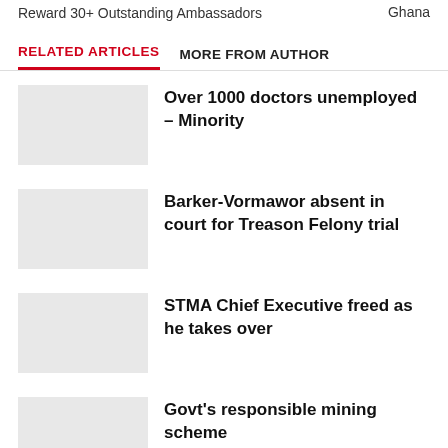Reward 30+ Outstanding Ambassadors	Ghana
RELATED ARTICLES	MORE FROM AUTHOR
Over 1000 doctors unemployed – Minority
Barker-Vormawor absent in court for Treason Felony trial
STMA Chief Executive freed as he takes over
Govt's responsible mining scheme